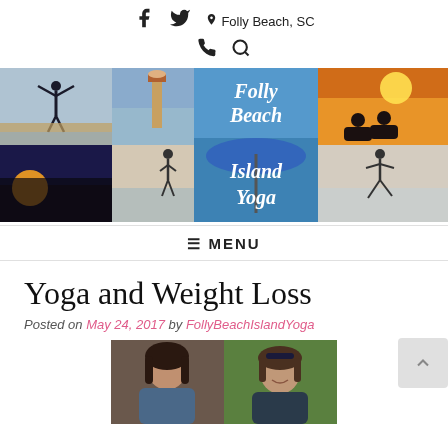Folly Beach, SC — Social icons (Facebook, Twitter, Phone, Search)
[Figure (photo): Folly Beach Island Yoga banner collage: yoga poses on beach, lighthouse, umbrella, sunset, two people meditating at sunset, woman doing warrior pose on beach with 'Folly Beach Island Yoga' text overlay]
≡ MENU
Yoga and Weight Loss
Posted on May 24, 2017 by FollyBeachIslandYoga
[Figure (photo): Before and after photos: left shows woman with dark hair looking down, right shows same woman smiling outdoors with sunglasses on head]